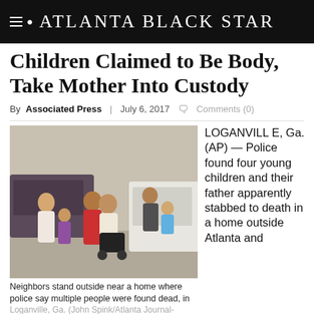Atlanta Black Star
Children Claimed to Be Body, Take Mother Into Custody
By Associated Press | July 6, 2017 Comments (0)
[Figure (photo): Neighbors standing outside near a home where police say multiple people were found dead, in Loganville, Ga. Photo credit: John Spink/Atlanta Journal-Constitution via AP]
Neighbors stand outside near a home where police say multiple people were found dead, in Loganville, Ga. (John Spink/Atlanta Journal-Constitution via AP)
LOGANVILLE, Ga. (AP) — Police found four young children and their father apparently stabbed to death in a home outside Atlanta and